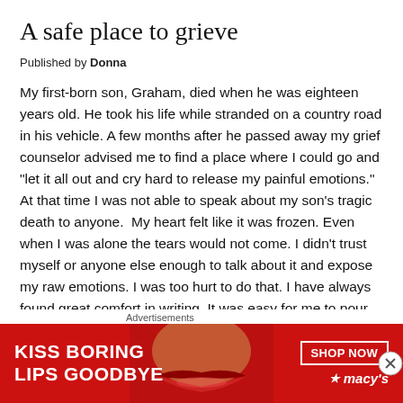A safe place to grieve
Published by Donna
My first-born son, Graham, died when he was eighteen years old. He took his life while stranded on a country road in his vehicle. A few months after he passed away my grief counselor advised me to find a place where I could go and “let it all out and cry hard to release my painful emotions.” At that time I was not able to speak about my son’s tragic death to anyone.  My heart felt like it was frozen. Even when I was alone the tears would not come. I didn’t trust myself or anyone else enough to talk about it and expose my raw emotions. I was too hurt to do that. I have always found great comfort in writing. It was easy for me to pour out m
[Figure (advertisement): Macy's lipstick advertisement with red background. Text reads: KISS BORING LIPS GOODBYE, SHOP NOW, macys star logo. Shows close-up of woman's lips.]